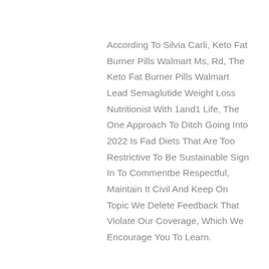According To Silvia Carli, Keto Fat Burner Pills Walmart Ms, Rd, The Keto Fat Burner Pills Walmart Lead Semaglutide Weight Loss Nutritionist With 1and1 Life, The One Approach To Ditch Going Into 2022 Is Fad Diets That Are Too Restrictive To Be Sustainable Sign In To Commentbe Respectful, Maintain It Civil And Keep On Topic We Delete Feedback That Violate Our Coverage, Which We Encourage You To Learn.